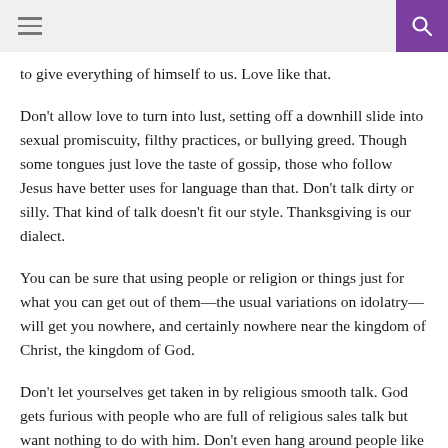to give everything of himself to us. Love like that.
Don't allow love to turn into lust, setting off a downhill slide into sexual promiscuity, filthy practices, or bullying greed. Though some tongues just love the taste of gossip, those who follow Jesus have better uses for language than that. Don't talk dirty or silly. That kind of talk doesn't fit our style. Thanksgiving is our dialect.
You can be sure that using people or religion or things just for what you can get out of them—the usual variations on idolatry—will get you nowhere, and certainly nowhere near the kingdom of Christ, the kingdom of God.
Don't let yourselves get taken in by religious smooth talk. God gets furious with people who are full of religious sales talk but want nothing to do with him. Don't even hang around people like that.
You can be sure that...